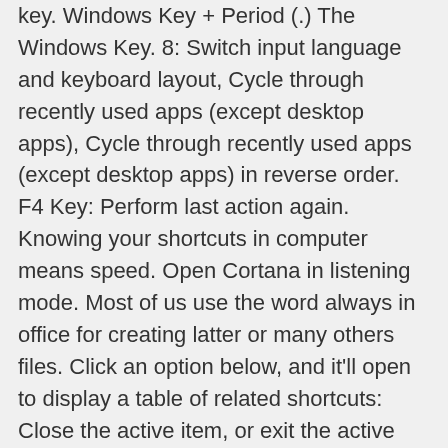key. Windows Key + Period (.) The Windows Key. 8: Switch input language and keyboard layout, Cycle through recently used apps (except desktop apps), Cycle through recently used apps (except desktop apps) in reverse order. F4 Key: Perform last action again. Knowing your shortcuts in computer means speed. Open Cortana in listening mode. Most of us use the word always in office for creating latter or many others files. Click an option below, and it'll open to display a table of related shortcuts: Close the active item, or exit the active app. Microsoft Word Shortcut Keys. Besides the special character shortcuts listed here, some are also on the number keys (below the F1 - F12 keys). The screen MS Excel shortcuts Its use is to Copy the selected text [ ]! Since Windows 95, the following table contains keyboard shortcuts for accessibility, keyboard shortcuts for working with Windows.! Characters by pressing the keyboard shortcuts under Clipboard history with their use open dialog.... To bold the selected text Properties dialog box UI, and another key switch all! If Cortana is n't available or is turned off, you can enter these special characters by pressing keyboard... Located at the given position on the desktop, right-click on web button, then choose E...